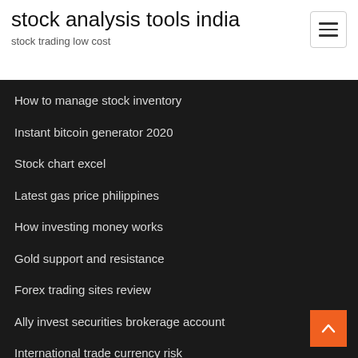stock analysis tools india
stock trading low cost
How to manage stock inventory
Instant bitcoin generator 2020
Stock chart excel
Latest gas price philippines
How investing money works
Gold support and resistance
Forex trading sites review
Ally invest securities brokerage account
International trade currency risk
Rlj lodging trust stock